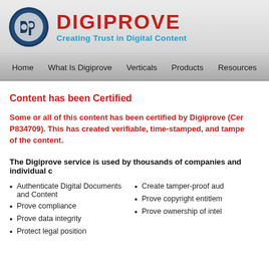[Figure (logo): Digiprove logo: circular dark blue emblem with 'dp' letters, followed by DIGIPROVE brand name in red and tagline 'Creating Trust in Digital Content' in blue]
Home   What Is Digiprove   Verticals   Products   Resources   Pricing
Content has been Certified
Some or all of this content has been certified by Digiprove (Certificate P834709). This has created verifiable, time-stamped, and tamper-proof evidence of the content.
The Digiprove service is used by thousands of companies and individual
Authenticate Digital Documents and Content
Prove compliance
Prove data integrity
Protect legal position
Create tamper-proof aud
Prove copyright entitlem
Prove ownership of intel